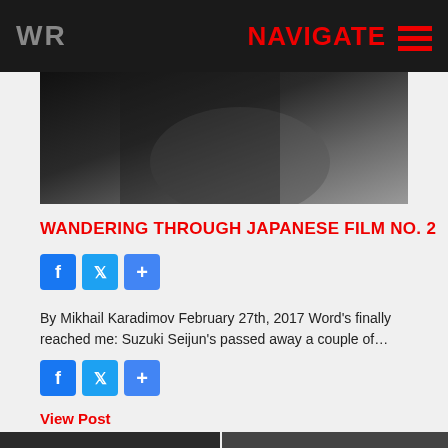WR  NAVIGATE
[Figure (photo): Black and white photo showing a hand gesture]
WANDERING THROUGH JAPANESE FILM NO. 2
[Figure (other): Social share buttons: Facebook, Twitter, Share+]
By Mikhail Karadimov February 27th, 2017 Word's finally reached me: Suzuki Seijun's passed away a couple of…
[Figure (other): Social share buttons: Facebook, Twitter, Share+]
View Post
[Figure (photo): Two small black and white images at the bottom of the page]